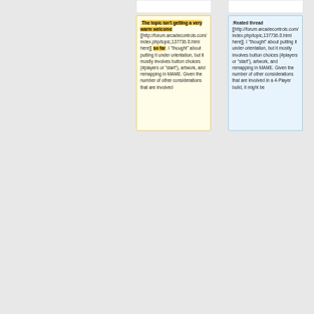:The topic isn't getting a very warm welcome [[http://forum.arcadecontrols.com/index.php/topic,137736.0.html here]] so far. I "thought" about putting it under orientation, but it mostly involves button choices (#players or "start"), artwork, and remapping in MAME. Given the number of other considerations that are involved
:Reated thread [[http://forum.arcadecontrols.com/index.php/topic,137736.0.html here]]. I "thought" about putting it under orientation, but it mostly involves button choices (#players or "start"), artwork, and remapping in MAME. Given the number of other considerations that are involved in a 4-Player build, it might be